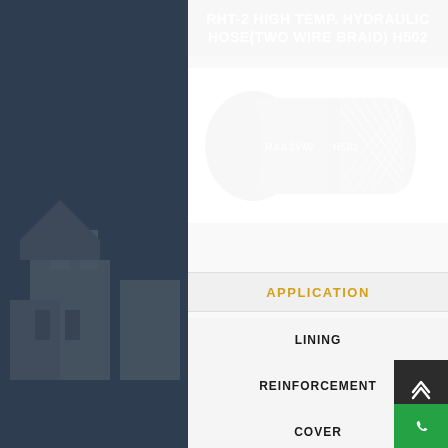RHT-2 HIGH TEMP. HYDRAULIC HOSE(TWO WIRE BRAID) H502
[Figure (photo): Black hydraulic hose with two wire braid reinforcement, labeled RAASVIN H502, showing exposed braided steel wire ends]
APPLICATION
LINING
REINFORCEMENT
COVER